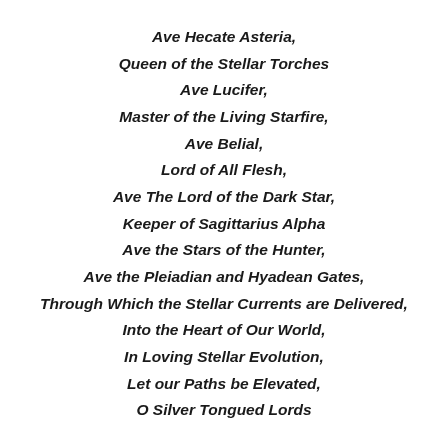Ave Hecate Asteria,
Queen of the Stellar Torches
Ave Lucifer,
Master of the Living Starfire,
Ave Belial,
Lord of All Flesh,
Ave The Lord of the Dark Star,
Keeper of Sagittarius Alpha
Ave the Stars of the Hunter,
Ave the Pleiadian and Hyadean Gates,
Through Which the Stellar Currents are Delivered,
Into the Heart of Our World,
In Loving Stellar Evolution,
Let our Paths be Elevated,
O Silver Tongued Lords